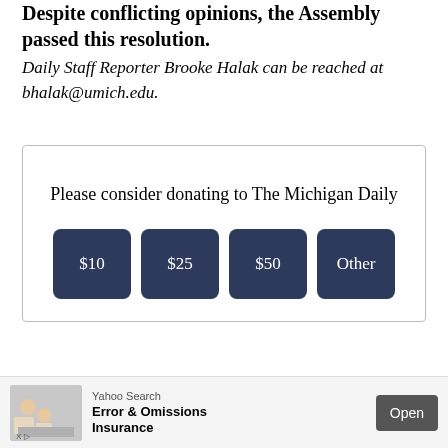Despite conflicting opinions, the Assembly passed this resolution.
Daily Staff Reporter Brooke Halak can be reached at bhalak@umich.edu.
Please consider donating to The Michigan Daily
[Figure (infographic): Donation widget with four buttons: $10, $25, $50, Other]
RELATED ARTICLES
[Figure (screenshot): Advertisement banner: Yahoo Search - Error & Omissions Insurance - Open button]